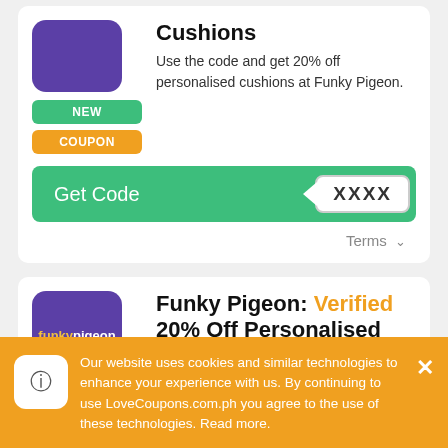Cushions
Use the code and get 20% off personalised cushions at Funky Pigeon.
[Figure (other): Get Code button with XXXX code reveal on green background]
Terms
Funky Pigeon: Verified 20% Off Personalised Mugs
Use the code and get 20% off personalised mugs at Funky Pigeon.
Our website uses cookies and similar technologies to enhance your experience with us. By continuing to use LoveCoupons.com.ph you agree to the use of these technologies. Read more.